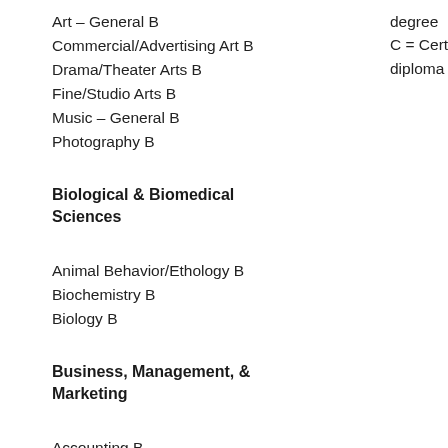Art – General B
Commercial/Advertising Art B
Drama/Theater Arts B
Fine/Studio Arts B
Music – General B
Photography B
degree
C = Certificate or diploma
Biological & Biomedical Sciences
Animal Behavior/Ethology B
Biochemistry B
Biology B
Business, Management, & Marketing
Accounting B